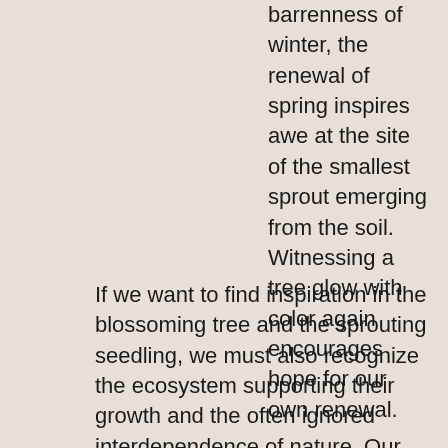barrenness of winter, the renewal of spring inspires awe at the site of the smallest sprout emerging from the soil. Witnessing a tree glow with color again encourages hope for our own renewal. If we want to find inspiration in the blossoming tree and the sprouting seedling, we must also recognize the ecosystem supporting their growth and the often ignored interdependence of nature. Our society has lionized the rugged individual and forgotten the nourishing collective.
There is a revitalization that comes through connection. Our species thrives in an ecosystem of relationships and community. Vital gatherings catalyze the transformation